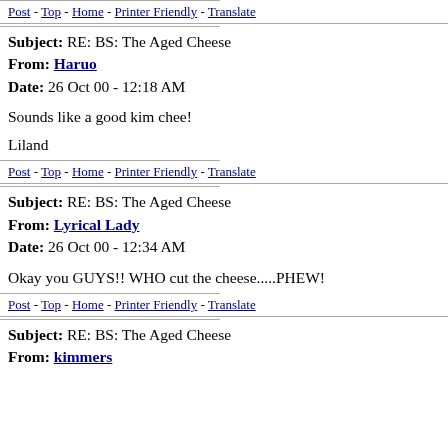Post - Top - Home - Printer Friendly - Translate
Subject: RE: BS: The Aged Cheese
From: Haruo
Date: 26 Oct 00 - 12:18 AM
Sounds like a good kim chee!
Liland
Post - Top - Home - Printer Friendly - Translate
Subject: RE: BS: The Aged Cheese
From: Lyrical Lady
Date: 26 Oct 00 - 12:34 AM
Okay you GUYS!! WHO cut the cheese.....PHEW!
Post - Top - Home - Printer Friendly - Translate
Subject: RE: BS: The Aged Cheese
From: kimmers